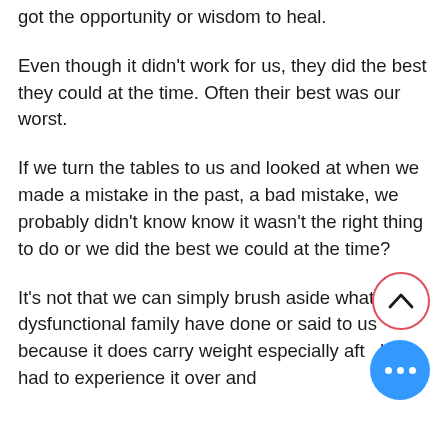got the opportunity or wisdom to heal.
Even though it didn't work for us, they did the best they could at the time. Often their best was our worst.
If we turn the tables to us and looked at when we made a mistake in the past, a bad mistake, we probably didn't know know it wasn't the right thing to do or we did the best we could at the time?
It's not that we can simply brush aside what our dysfunctional family have done or said to us because it does carry weight especially after have had to experience it over and